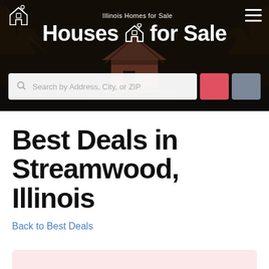[Figure (screenshot): Hero banner with dark forest and lake background, website header showing 'Illinois Homes for Sale' and 'Houses for Sale' with house icon logo, hamburger menu, and search bar with red and gray buttons]
Best Deals in Streamwood, Illinois
Back to Best Deals
[Figure (other): Partially visible pink/rose colored card at bottom of page]